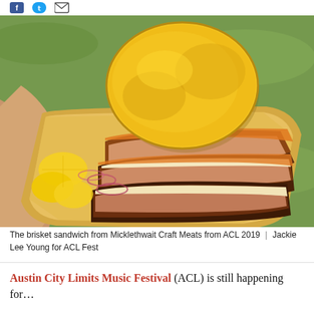[Figure (photo): A hand holding a cardboard tray with brisket slices topped with orange sauce, a large round piece of bread/chip, lemon wedges and red onion slices, on a green grass background.]
The brisket sandwich from Micklethwait Craft Meats from ACL 2019 | Jackie Lee Young for ACL Fest
Austin City Limits Music Festival (ACL) is still happening for … [text continues below]